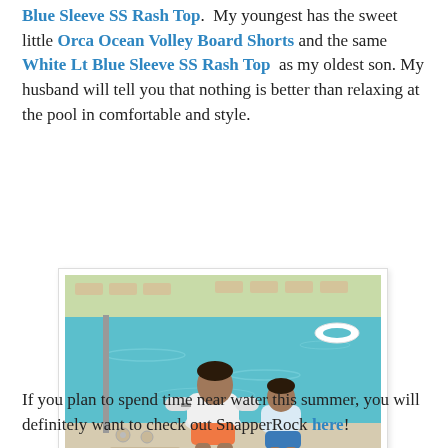Blue Sleeve SS Rash Top. My youngest has the sweet little Orca Ocean Volley Board Shorts and the same White Lt Blue Sleeve SS Rash Top as my oldest son. My husband will tell you that nothing is better than relaxing at the pool in comfortable and style.
[Figure (photo): Two boys sitting at the edge of a pool, viewed from behind. The older boy wears a white long-sleeve rash top and orange board shorts; the younger boy wears a white/light blue rash top and board shorts. The pool is bright turquoise. A floatie and pool chairs are visible in the background. A 'No Diving' sign is visible on the pool deck.]
If you plan to spend time near water this summer, you will definitely want to check out SnapperRock here!